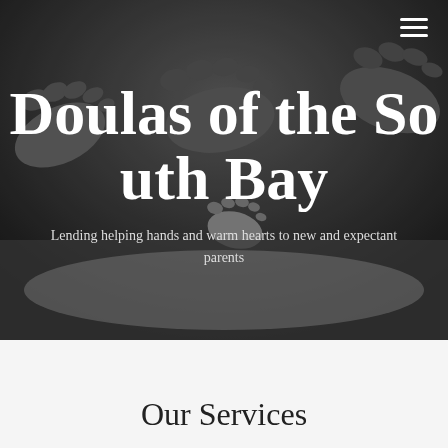[Figure (photo): Black and white photograph showing baby feet and parent feet together, soft focus background]
Doulas of the South Bay
Lending helping hands and warm hearts to new and expectant parents
Our Services